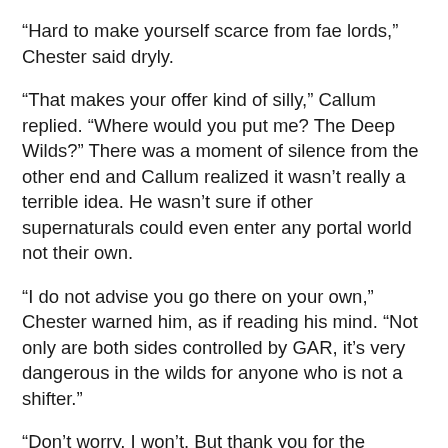“Hard to make yourself scarce from fae lords,” Chester said dryly.
“That makes your offer kind of silly,” Callum replied. “Where would you put me? The Deep Wilds?” There was a moment of silence from the other end and Callum realized it wasn’t really a terrible idea. He wasn’t sure if other supernaturals could even enter any portal world not their own.
“I do not advise you go there on your own,” Chester warned him, as if reading his mind. “Not only are both sides controlled by GAR, it’s very dangerous in the wilds for anyone who is not a shifter.”
“Don’t worry, I won’t. But thank you for the information. And, I’m glad you weren’t involved.”
“What are you going to do?” Chester asked.
“Goodbye, Chester,” Callum said, and hung up. He frowned at the phone for a little bit, mulling over whether he was being too hasty. Or at least, ungrateful, since Chester had actually been trying to help, rather than being